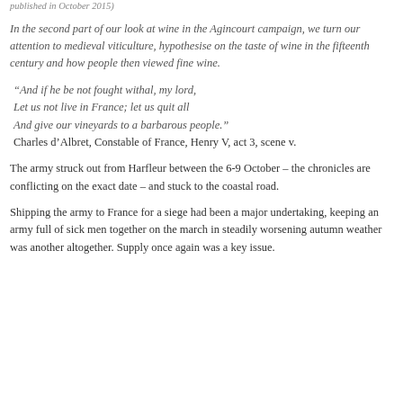published in October 2015)
In the second part of our look at wine in the Agincourt campaign, we turn our attention to medieval viticulture, hypothesise on the taste of wine in the fifteenth century and how people then viewed fine wine.
“And if he be not fought withal, my lord, Let us not live in France; let us quit all And give our vineyards to a barbarous people.” Charles d’Albret, Constable of France, Henry V, act 3, scene v.
The army struck out from Harfleur between the 6-9 October – the chronicles are conflicting on the exact date – and stuck to the coastal road.
Shipping the army to France for a siege had been a major undertaking, keeping an army full of sick men together on the march in steadily worsening autumn weather was another altogether. Supply once again was a key issue.